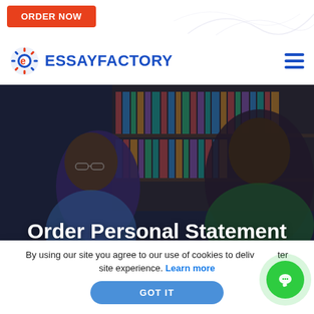[Figure (screenshot): EssayFactory website screenshot showing header with ORDER NOW button, logo, navigation hamburger menu, hero image of two students talking in front of bookshelf, and cookie consent banner with GOT IT button and chat widget.]
Order Personal Statement Bracknell
By using our site you agree to our use of cookies to deliver a better site experience. Learn more
GOT IT